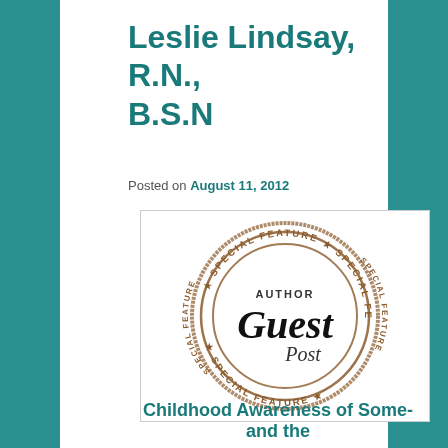Leslie Lindsay, R.N., B.S.N
Posted on August 11, 2012
[Figure (logo): A circular stamp/badge graphic reading 'AUTHOR Guest Post' in the center with 'SPECIAL FEATURE' text repeated around the outer ring with stars, rendered in a distressed brown ink style.]
Childhood Awareness of Some-and the